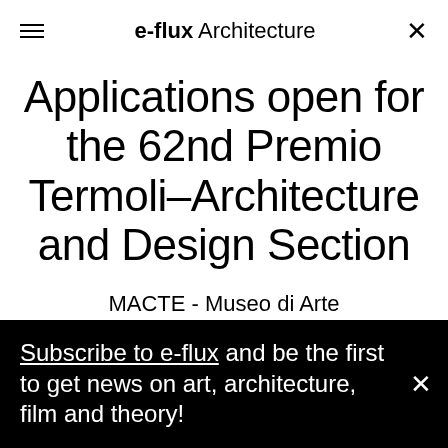e-flux Architecture
Applications open for the 62nd Premio Termoli–Architecture and Design Section
MACTE - Museo di Arte
Subscribe to e-flux and be the first to get news on art, architecture, film and theory!